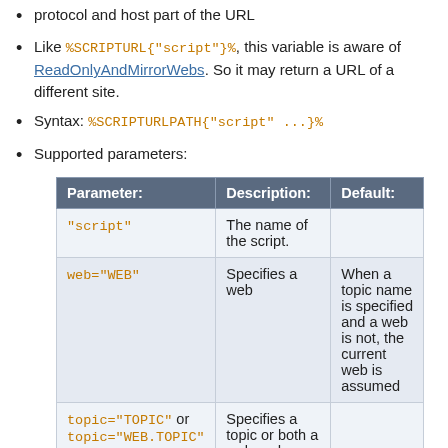protocol and host part of the URL
Like %SCRIPTURL{"script"}%, this variable is aware of ReadOnlyAndMirrorWebs. So it may return a URL of a different site.
Syntax: %SCRIPTURLPATH{"script" ...}%
Supported parameters:
| Parameter: | Description: | Default: |
| --- | --- | --- |
| "script" | The name of the script. |  |
| web="WEB" | Specifies a web | When a topic name is specified and a web is not, the current web is assumed |
| topic="TOPIC" or topic="WEB.TOPIC" | Specifies a topic or both a web and a topic |  |